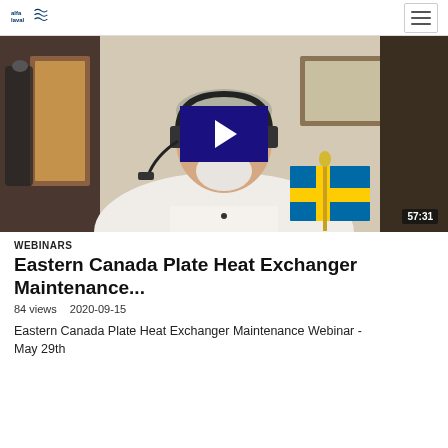Alfa Laval logo | hamburger menu
[Figure (screenshot): Video thumbnail showing a man wearing headphones and a white shirt, with a Swedish flag visible, and a dark blue play button overlay in the center. Duration shown as 57:31 in bottom right corner.]
WEBINARS
Eastern Canada Plate Heat Exchanger Maintenance...
84 views   2020-09-15
Eastern Canada Plate Heat Exchanger Maintenance Webinar - May 29th